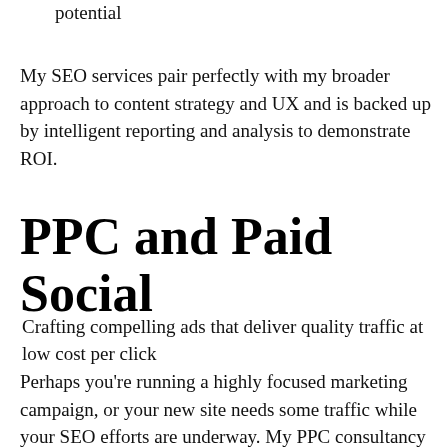potential
My SEO services pair perfectly with my broader approach to content strategy and UX and is backed up by intelligent reporting and analysis to demonstrate ROI.
PPC and Paid Social
Crafting compelling ads that deliver quality traffic at low cost per click
Perhaps you're running a highly focused marketing campaign, or your new site needs some traffic while your SEO efforts are underway. My PPC consultancy services can help you attract